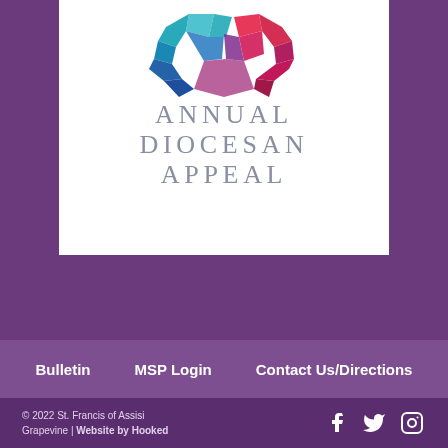[Figure (logo): Annual Diocesan Appeal logo with colorful geometric heart shape above text reading ANNUAL DIOCESAN APPEAL in spaced serif letters on white background]
Bulletin   MSP Login   Contact Us/Directions
© 2022 St. Francis of Assisi Grapevine | Website by Hooked